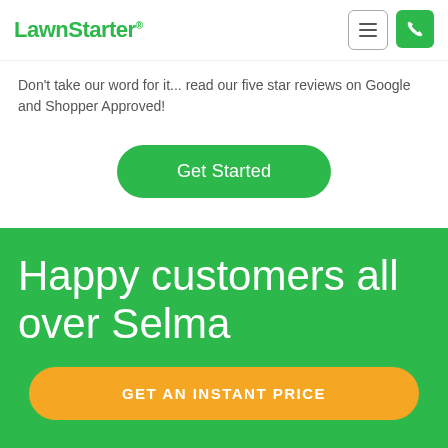LawnStarter®
Don't take our word for it... read our five star reviews on Google and Shopper Approved!
Get Started
Happy customers all over Selma
GET AN INSTANT PRICE
[Figure (photo): A horizontal strip of outdoor lawn/yard photos showing green grass and residential homes in Selma]